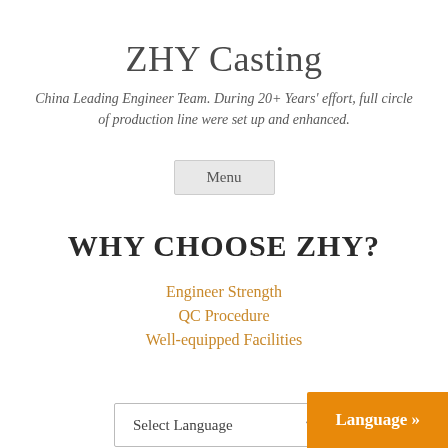ZHY Casting
China Leading Engineer Team. During 20+ Years' effort, full circle of production line were set up and enhanced.
Menu
WHY CHOOSE ZHY?
Engineer Strength
QC Procedure
Well-equipped Facilities
Select Language
Language »